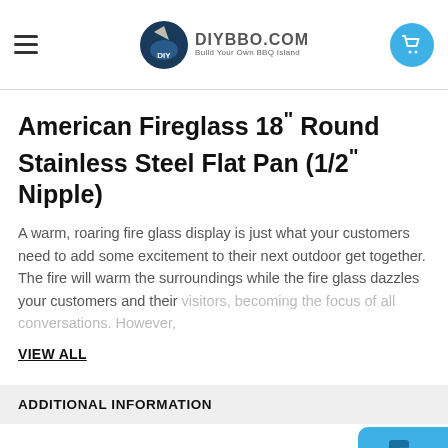DIYBBO.COM - Build Your Own BBQ Island
American Fireglass 18" Round Stainless Steel Flat Pan (1/2" Nipple)
A warm, roaring fire glass display is just what your customers need to add some excitement to their next outdoor get together. The fire will warm the surroundings while the fire glass dazzles your customers and their visitors, becoming the focus of all conversations. However,
VIEW ALL
ADDITIONAL INFORMATION
| Dimensions: |  |
| --- | --- |
| Dimensions: | 18 Inch |